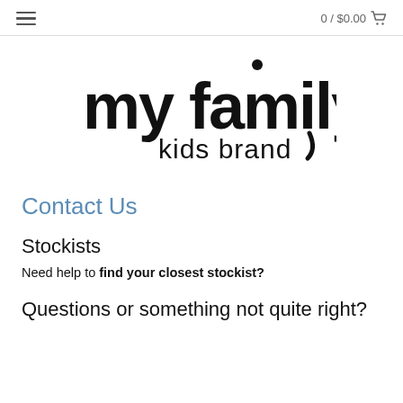≡   0 / $0.00 🛒
[Figure (logo): my family kids brand logo in bold black stylized text]
Contact Us
Stockists
Need help to find your closest stockist?
Questions or something not quite right?